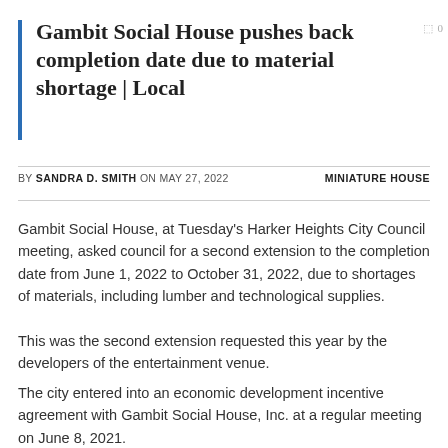Gambit Social House pushes back completion date due to material shortage | Local
BY SANDRA D. SMITH ON MAY 27, 2022  MINIATURE HOUSE
Gambit Social House, at Tuesday’s Harker Heights City Council meeting, asked council for a second extension to the completion date from June 1, 2022 to October 31, 2022, due to shortages of materials, including lumber and technological supplies.
This was the second extension requested this year by the developers of the entertainment venue.
The city entered into an economic development incentive agreement with Gambit Social House, Inc. at a regular meeting on June 8, 2021.